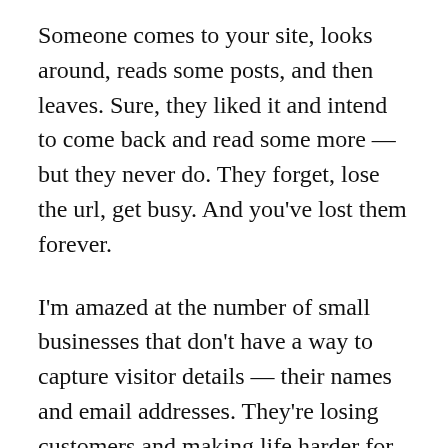Someone comes to your site, looks around, reads some posts, and then leaves. Sure, they liked it and intend to come back and read some more — but they never do. They forget, lose the url, get busy. And you've lost them forever.
I'm amazed at the number of small businesses that don't have a way to capture visitor details — their names and email addresses. They're losing customers and making life harder for themselves. It takes time and effort to attract people to your site,